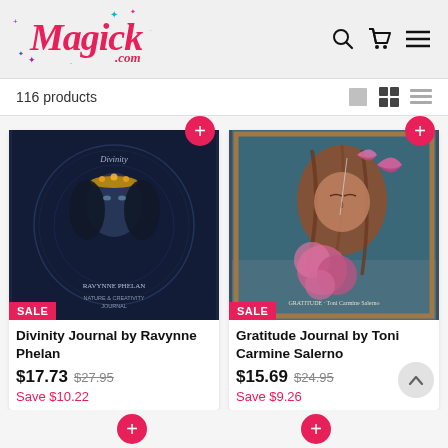[Figure (screenshot): Magick.com website header with pink cursive logo, sparkle stars, search icon, cart icon, and hamburger menu]
116 products
[Figure (photo): Divinity Journal by Ravynne Phelan book cover — dark blue mystical face with crown design]
SALE
Divinity Journal by Ravynne Phelan
$17.73
$27.95
Save $10.22
[Figure (photo): Gratitude Journal by Toni Carmine Salerno book cover — woman with pink butterflies and flowers]
SALE
Gratitude Journal by Toni Carmine Salerno
$15.69
$24.95
Save $9.26